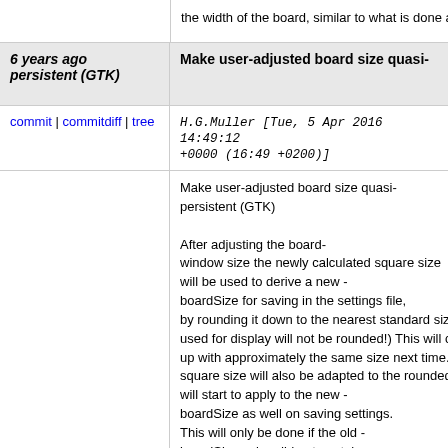the width of the board, similar to what is done at s
6 years ago persistent (GTK)
Make user-adjusted board size quasi-
commit | commitdiff | tree  H.G.Muller [Tue, 5 Apr 2016 14:49:12 +0000 (16:49 +0200)]
Make user-adjusted board size quasi-persistent (GTK)

After adjusting the board-
window size the newly calculated square size
will be used to derive a new -
boardSize for saving in the settings file,
by rounding it down to the nearest standard size. (
used for display will not be rounded!) This will cau
up with approximately the same size next time. Th
square size will also be adapted to the rounded va
will start to apply to the new -
boardSize as well on saving settings.
This will only be done if the old -
boardSize value did not contain
commas (meaning it specified more than just squa
6 years ago GTK
Unlock width requests in board window
commit | commitdiff | tree  H.G.Muller [Tue, 5 Apr 2016 14:36:15